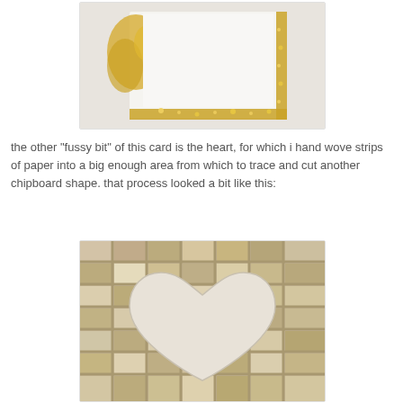[Figure (photo): Photo of a white card/chipboard frame decorated with gold lace/doily borders along the edges, placed on a white surface.]
the other "fussy bit" of this card is the heart, for which i hand wove strips of paper into a big enough area from which to trace and cut another chipboard shape. that process looked a bit like this:
[Figure (photo): Photo of a heart-shaped chipboard piece placed on a woven patchwork of paper strips in neutral tones of cream, beige, gold, and grey with various patterns.]